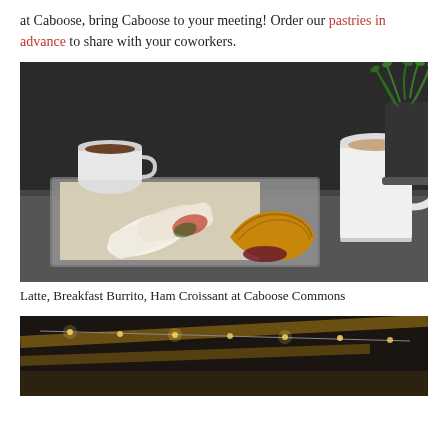at Caboose, bring Caboose to your meeting! Order our pastries in advance to share with your coworkers.
[Figure (photo): Photo of a latte, breakfast burrito, and ham croissant on a tray at Caboose Commons, with a potted herb plant in the background]
Latte, Breakfast Burrito, Ham Croissant at Caboose Commons
[Figure (photo): Interior photo of Caboose Commons showing string lights and wooden beams]